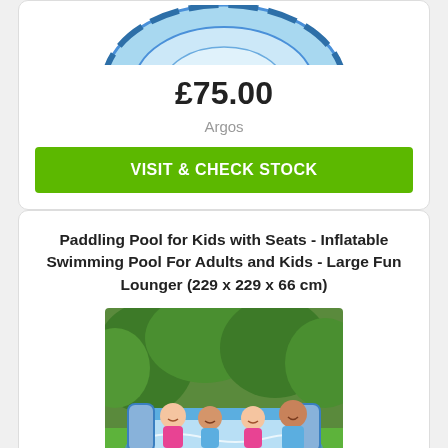[Figure (photo): Top portion of inflatable paddling pool, blue and white, viewed from above, partially cropped at top]
£75.00
Argos
VISIT & CHECK STOCK
Paddling Pool for Kids with Seats - Inflatable Swimming Pool For Adults and Kids - Large Fun Lounger (229 x 229 x 66 cm)
[Figure (photo): Children sitting in a blue and white inflatable paddling pool with seats outdoors on grass with green trees in background]